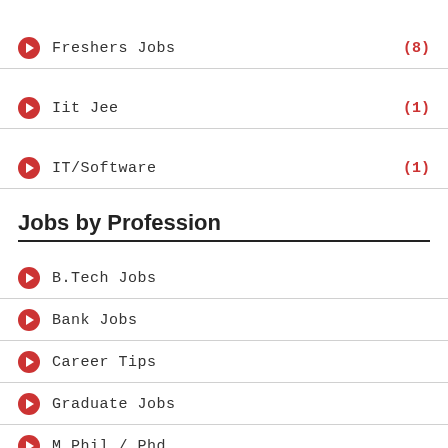Freshers Jobs (8)
Iit Jee (1)
IT/Software (1)
Jobs by Profession
B.Tech Jobs
Bank Jobs
Career Tips
Graduate Jobs
M Phil / Phd
M.B.A. Jobs
M.B.B.S. Jobs